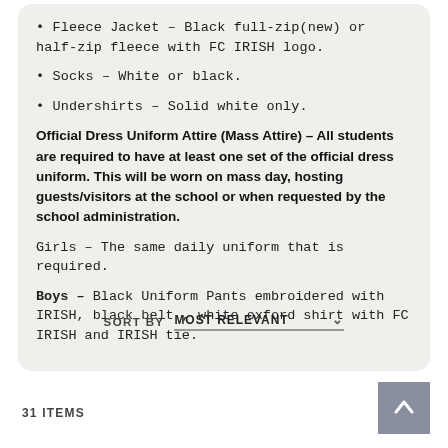• Fleece Jacket – Black full-zip(new) or half-zip fleece with FC IRISH logo.
• Socks – White or black.
• Undershirts – Solid white only.
Official Dress Uniform Attire (Mass Attire) – All students are required to have at least one set of the official dress uniform. This will be worn on mass day, hosting guests/visitors at the school or when requested by the school administration.
Girls – The same daily uniform that is required.
Boys – Black Uniform Pants embroidered with IRISH, black belt , white oxford shirt with FC IRISH and IRISH tie.
SORT BY   MOST RELEVANT
31 ITEMS